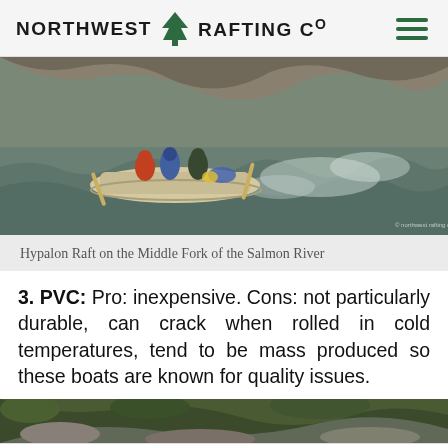NORTHWEST RAFTING CO
[Figure (photo): Hypalon raft navigating whitewater rapids on the Middle Fork of the Salmon River, with passengers in life vests and gear loaded on board.]
Hypalon Raft on the Middle Fork of the Salmon River
3. PVC: Pro: inexpensive. Cons: not particularly durable, can crack when rolled in cold temperatures, tend to be mass produced so these boats are known for quality issues.
[Figure (photo): Rocky riverbank and green foliage, bottom strip of landscape photo.]
11  [Facebook share]  [Twitter share]  2 [Pinterest share]  < 13 SHARES